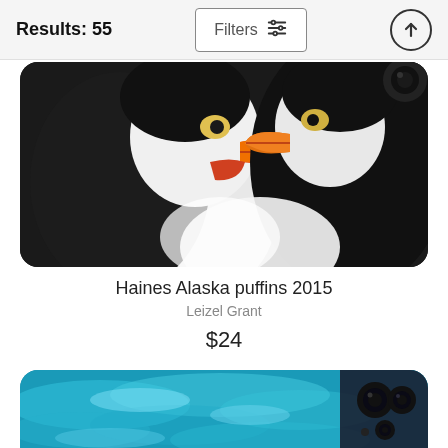Results: 55
Filters
[Figure (photo): Phone case featuring two puffin birds close up, black and white birds with colorful orange beaks, viewed from front, rounded rectangle shape]
Haines Alaska puffins 2015
Leizel Grant
$24
[Figure (photo): Phone case featuring blue ocean water surface, bright turquoise water, rounded rectangle shape, partially visible]